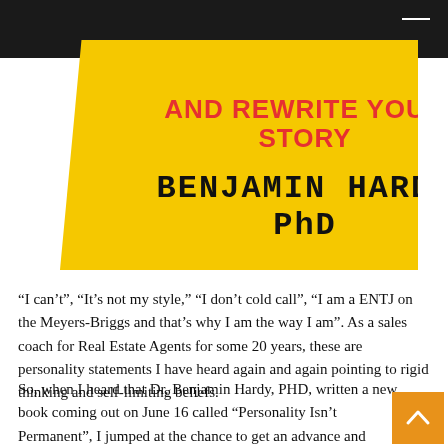[Figure (illustration): Book cover for 'Personality Isn't Permanent' by Benjamin Hardy PhD with yellow background and red subtitle text reading 'AND REWRITE YOUR STORY']
“I can’t”, “It’s not my style,” “I don’t cold call”, “I am a ENTJ on the Meyers-Briggs and that’s why I am the way I am”. As a sales coach for Real Estate Agents for some 20 years, these are personality statements I have heard again and again pointing to rigid thinking and self-limiting beliefs.
So, when I heard that Dr. Benjamin Hardy, PHD, written a new book coming out on June 16 called “Personality Isn’t Permanent”, I jumped at the chance to get an advance and review the book. The subtitle